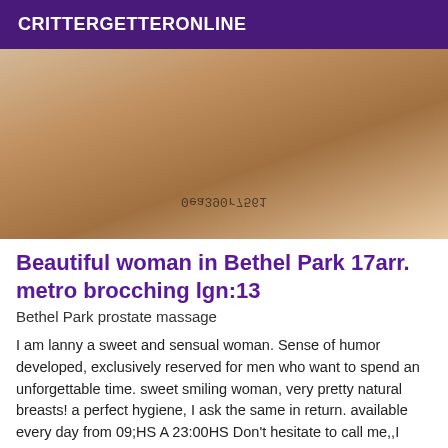CRITTERGETTERONLINE
[Figure (photo): A woman posing on a bed, with a watermark text '0ea390r7561' (mirrored) visible near the bottom center of the image.]
Beautiful woman in Bethel Park 17arr. metro brocching lgn:13
Bethel Park prostate massage
I am lanny a sweet and sensual woman. Sense of humor developed, exclusively reserved for men who want to spend an unforgettable time. sweet smiling woman, very pretty natural breasts! a perfect hygiene, I ask the same in return. available every day from 09;HS A 23:00HS Don't hesitate to call me,,I don't answer mask